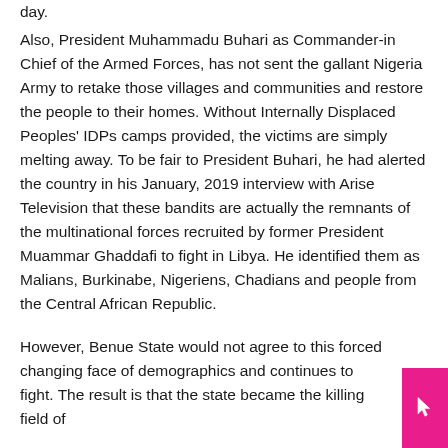day.
Also, President Muhammadu Buhari as Commander-in Chief of the Armed Forces, has not sent the gallant Nigeria Army to retake those villages and communities and restore the people to their homes. Without Internally Displaced Peoples' IDPs camps provided, the victims are simply melting away. To be fair to President Buhari, he had alerted the country in his January, 2019 interview with Arise Television that these bandits are actually the remnants of the multinational forces recruited by former President Muammar Ghaddafi to fight in Libya. He identified them as Malians, Burkinabe, Nigeriens, Chadians and people from the Central African Republic.
However, Benue State would not agree to this forced changing face of demographics and continues to fight. The result is that the state became the killing field of